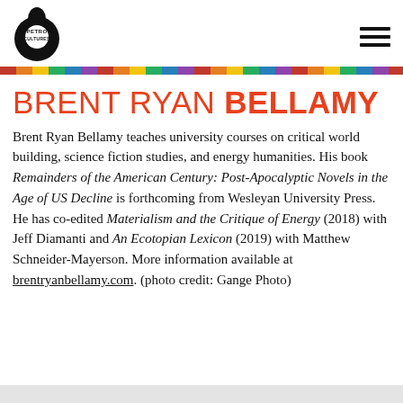[Figure (logo): Petro Cultures logo: black circle with droplet shape and text PETRO CULTURES]
BRENT RYAN BELLAMY
Brent Ryan Bellamy teaches university courses on critical world building, science fiction studies, and energy humanities. His book Remainders of the American Century: Post-Apocalyptic Novels in the Age of US Decline is forthcoming from Wesleyan University Press. He has co-edited Materialism and the Critique of Energy (2018) with Jeff Diamanti and An Ecotopian Lexicon (2019) with Matthew Schneider-Mayerson. More information available at brentryanbellamy.com. (photo credit: Gange Photo)